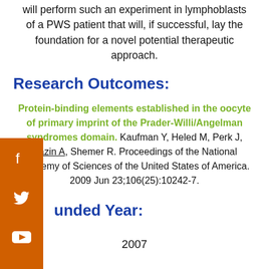will perform such an experiment in lymphoblasts of a PWS patient that will, if successful, lay the foundation for a novel potential therapeutic approach.
Research Outcomes:
Protein-binding elements established in the oocyte of primary imprint of the Prader-Willi/Angelman syndromes domain. Kaufman Y, Heled M, Perk J, Razin A, Shemer R. Proceedings of the National Academy of Sciences of the United States of America. 2009 Jun 23;106(25):10242-7.
Funded Year:
2007